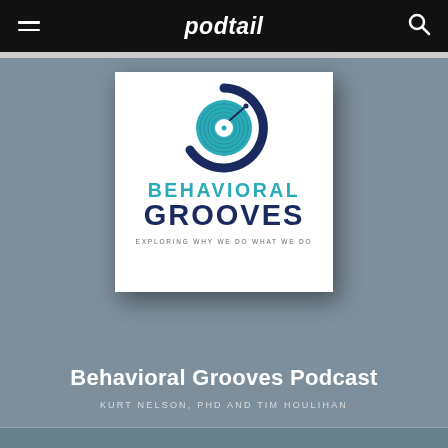podtail
[Figure (logo): Behavioral Grooves Podcast cover art: vinyl record G-shaped logo in teal and navy, with text BEHAVIORAL GROOVES and subtitle EXPLORING WHY WE DO WHAT WE DO on white background]
Behavioral Grooves Podcast
KURT NELSON, PHD AND TIM HOULIHAN